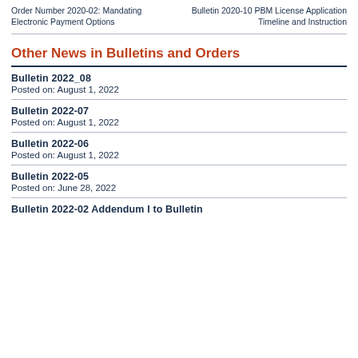Order Number 2020-02: Mandating Electronic Payment Options
Bulletin 2020-10 PBM License Application Timeline and Instruction
Other News in Bulletins and Orders
Bulletin 2022_08
Posted on: August 1, 2022
Bulletin 2022-07
Posted on: August 1, 2022
Bulletin 2022-06
Posted on: August 1, 2022
Bulletin 2022-05
Posted on: June 28, 2022
Bulletin 2022-02 Addendum I to Bulletin